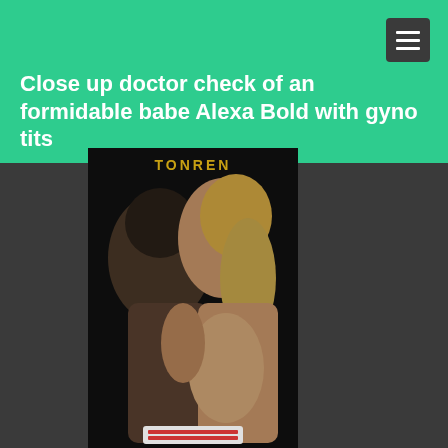Close up doctor check of an formidable babe Alexa Bold with gyno tits
[Figure (photo): A couple in an intimate close-up pose, man and woman nearly kissing, woman with blonde hair, dark background]